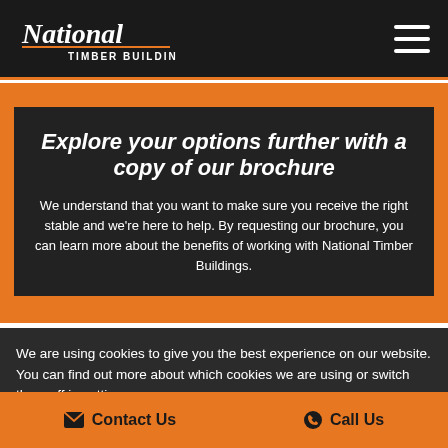National Timber Buildings
Explore your options further with a copy of our brochure
We understand that you want to make sure you receive the right stable and we're here to help. By requesting our brochure, you can learn more about the benefits of working with National Timber Buildings.
We are using cookies to give you the best experience on our website.
You can find out more about which cookies we are using or switch them off in settings.
Accept
Contact Us   Call Us